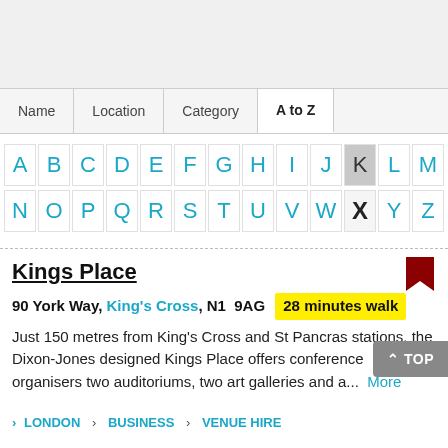Name | Location | Category | A to Z
[Figure (other): A-Z letter navigation grid with letters A through Z. K is highlighted/selected (gray background). X is shown with a black X mark. All other letters are in cyan/teal color.]
Kings Place
90 York Way, King's Cross, N1 9AG  28 minutes walk
Just 150 metres from King's Cross and St Pancras stations, the Dixon-Jones designed Kings Place offers conference organisers two auditoriums, two art galleries and a...  More
> LONDON > BUSINESS > VENUE HIRE